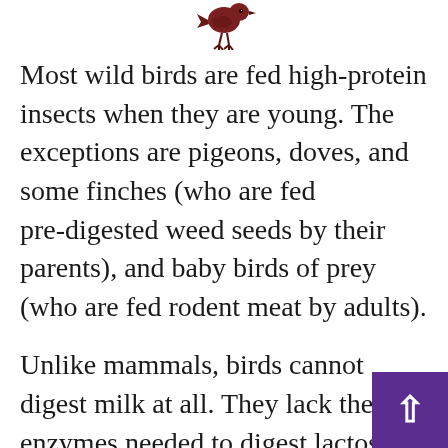[Figure (illustration): Small dark brown/maroon bird illustration centered at the top of the page]
Most wild birds are fed high-protein insects when they are young. The exceptions are pigeons, doves, and some finches (who are fed pre-digested weed seeds by their parents), and baby birds of prey (who are fed rodent meat by adults).
Unlike mammals, birds cannot digest milk at all. They lack the enzymes needed to digest lactose in any form. And there is no nutrition in bread that a young bird can use for growing during its critical first fourteen days of life.
Do not believe anyone who tells you to feed any form of dairy product or bread to baby